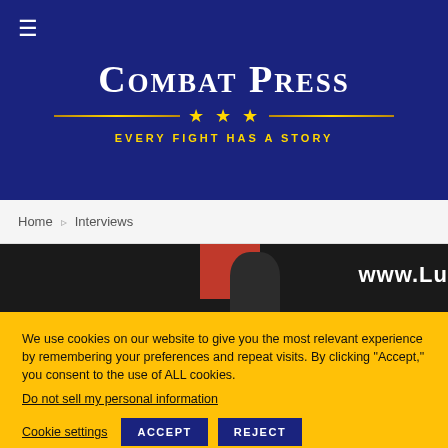COMBAT PRESS — EVERY FIGHT HAS A STORY
Home > Interviews
[Figure (photo): Photo strip showing a boxing/MMA ring with 'www.LU' text visible on right, a red patch and person visible in image]
We use cookies on our website to give you the most relevant experience by remembering your preferences and repeat visits. By clicking "Accept," you consent to the use of ALL cookies.
Do not sell my personal information
Cookie settings   ACCEPT   REJECT